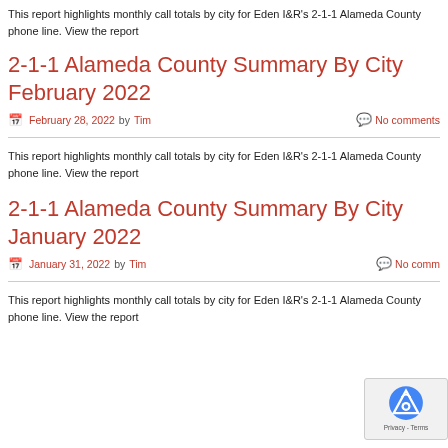This report highlights monthly call totals by city for Eden I&R's 2-1-1 Alameda County phone line. View the report
2-1-1 Alameda County Summary By City February 2022
February 28, 2022 by Tim  No comments
This report highlights monthly call totals by city for Eden I&R's 2-1-1 Alameda County phone line. View the report
2-1-1 Alameda County Summary By City January 2022
January 31, 2022 by Tim  No comments
This report highlights monthly call totals by city for Eden I&R's 2-1-1 Alameda County phone line. View the report